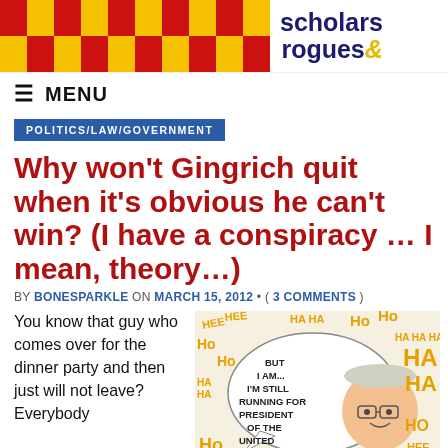[Figure (logo): Scholars & Rogues website header with red and yellow checkerboard pattern on left and site name on right]
≡ MENU
POLITICS/LAW/GOVERNMENT
Why won't Gingrich quit when it's obvious he can't win? (I have a conspiracy … I mean, theory…)
BY BONESPARKLE ON MARCH 15, 2012 • ( 3 COMMENTS )
You know that guy who comes over for the dinner party and then just will not leave? Everybody
[Figure (illustration): Cartoon illustration of Newt Gingrich saying 'BUT I AM... I'M STILL RUNNING FOR PRESIDENT OF THE UNITED STATES.' surrounded by laughter text HEE HEE, HA HA, HO HO]